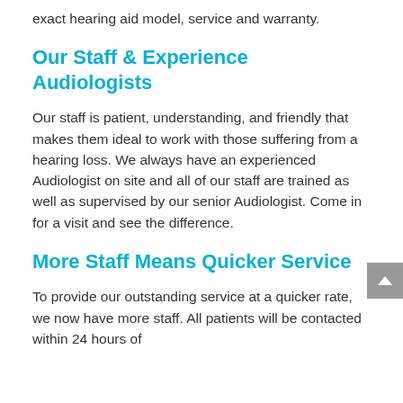exact hearing aid model, service and warranty.
Our Staff & Experience Audiologists
Our staff is patient, understanding, and friendly that makes them ideal to work with those suffering from a hearing loss. We always have an experienced Audiologist on site and all of our staff are trained as well as supervised by our senior Audiologist. Come in for a visit and see the difference.
More Staff Means Quicker Service
To provide our outstanding service at a quicker rate, we now have more staff. All patients will be contacted within 24 hours of